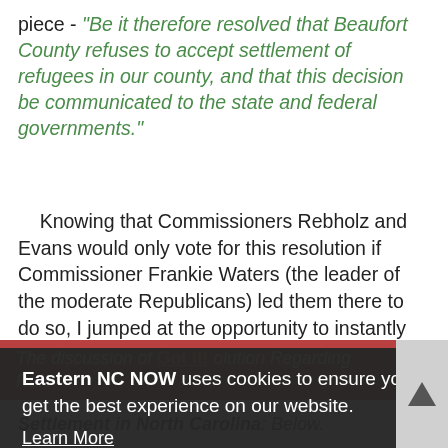piece - "Be it therefore resolved that Beaufort County refuses to accept settlement of refugees in our county, and that this decision be communicated to the state and federal governments."
Knowing that Commissioners Rebholz and Evans would only vote for this resolution if Commissioner Frankie Waters (the leader of the moderate Republicans) led them there to do so, I jumped at the opportunity to instantly accept Commissioner Waters's negotiation to minimalize the resolution even though the resolution would have read far better and exhibited greater resolve to include the supporting language. But still, a win is a win, and they have long been few for the Conservatives on this Beaufort County Board of County Commissioners.
Eastern NC NOW uses cookies to ensure you get the best experience on our website. Learn More
The discussion of [Resolution Regarding Refugee Settlement in North Carolina]: Below.